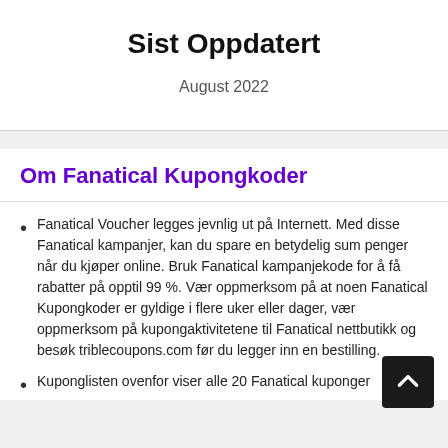Sist Oppdatert
August 2022
Om Fanatical Kupongkoder
Fanatical Voucher legges jevnlig ut på Internett. Med disse Fanatical kampanjer, kan du spare en betydelig sum penger når du kjøper online. Bruk Fanatical kampanjekode for å få rabatter på opptil 99 %. Vær oppmerksom på at noen Fanatical Kupongkoder er gyldige i flere uker eller dager, vær oppmerksom på kupongaktivitetene til Fanatical nettbutikk og besøk triblecoupons.com før du legger inn en bestilling.
Kuponglisten ovenfor viser alle 20 Fanatical kuponger